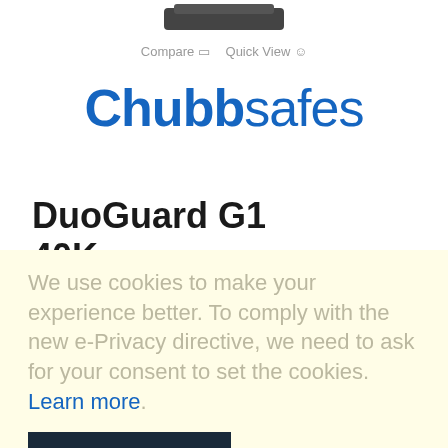[Figure (photo): Partial top view of a product (safe), cropped at top of page]
Compare  Quick View
[Figure (logo): Chubbsafes logo in blue text]
DuoGuard G1 40K
Eurograde 1 Security & fireproof tested safe
Product Rated  ★★★★★
We use cookies to make your experience better. To comply with the new e-Privacy directive, we need to ask for your consent to set the cookies. Learn more.
ALLOW COOKIES